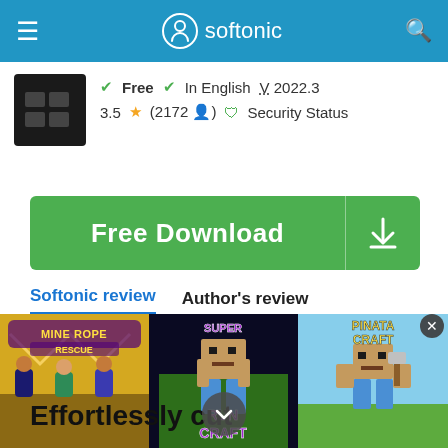softonic
Free  In English  V 2022.3
3.5 ★ (2172 👤)  🛡 Security Status
Free Download
Softonic review   Author's review
Shaun Jooste
Updated 2 months ago
Effortlessly cut and join videos on
[Figure (screenshot): Advertisement banner at bottom showing three game ads: Mine Rope Rescue, Super Run Craft, and Pinata Craft]